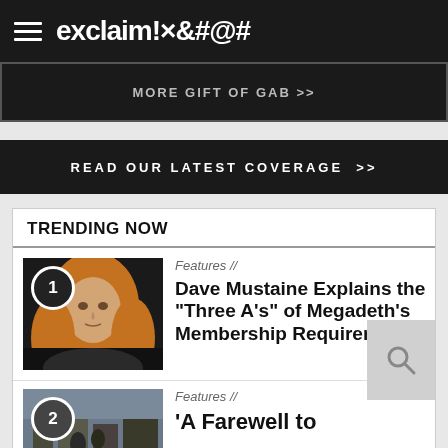exclaim!×@#
MORE GIFT OF GAB >>
READ OUR LATEST COVERAGE >>
TRENDING NOW
[Figure (photo): Photo of Dave Mustaine with long blond hair against dark background, numbered badge '1']
Features //
Dave Mustaine Explains the "Three A's" of Megadeth's Membership Requirements
[Figure (photo): Photo for second article, numbered badge '2']
Features //
'A Farewell to